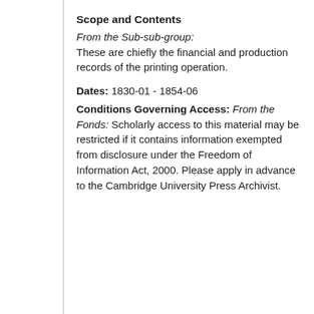Scope and Contents
From the Sub-sub-group: These are chiefly the financial and production records of the printing operation.
Dates: 1830-01 - 1854-06
Conditions Governing Access: From the Fonds: Scholarly access to this material may be restricted if it contains information exempted from disclosure under the Freedom of Information Act, 2000. Please apply in advance to the Cambridge University Press Archivist.